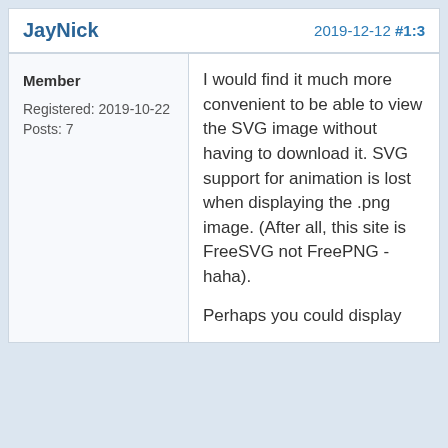JayNick    2019-12-12 #1:3
Member
Registered: 2019-10-22
Posts: 7
I would find it much more convenient to be able to view the SVG image without having to download it. SVG support for animation is lost when displaying the .png image. (After all, this site is FreeSVG not FreePNG - haha).
Perhaps you could display